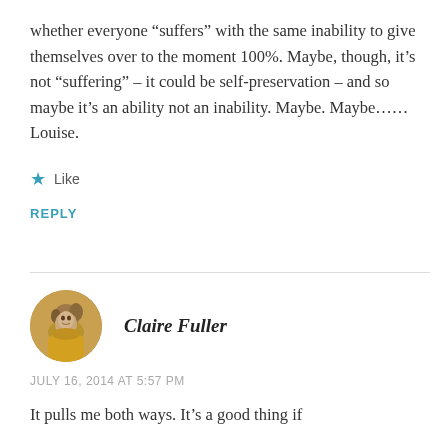whether everyone “suffers” with the same inability to give themselves over to the moment 100%. Maybe, though, it’s not “suffering” – it could be self-preservation – and so maybe it’s an ability not an inability. Maybe. Maybe…… Louise.
★ Like
REPLY
Claire Fuller
JULY 16, 2014 AT 5:57 PM
It pulls me both ways. It’s a good thing if